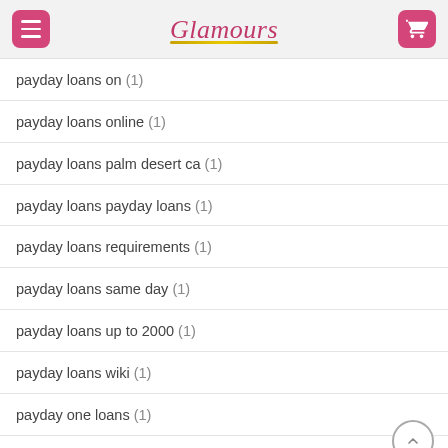Glamours
payday loans on (1)
payday loans online (1)
payday loans palm desert ca (1)
payday loans payday loans (1)
payday loans requirements (1)
payday loans same day (1)
payday loans up to 2000 (1)
payday loans wiki (1)
payday one loans (1)
paydayloan (2)